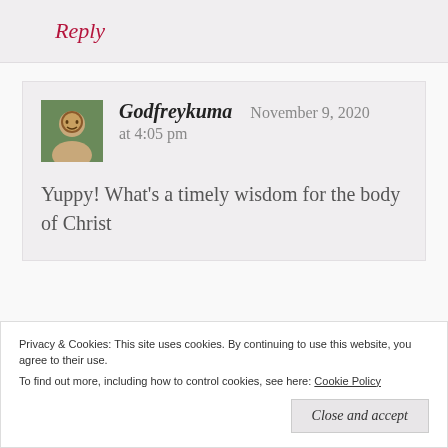Reply
Godfreykuma   November 9, 2020 at 4:05 pm
Yuppy! What's a timely wisdom for the body of Christ
Privacy & Cookies: This site uses cookies. By continuing to use this website, you agree to their use. To find out more, including how to control cookies, see here: Cookie Policy
Close and accept